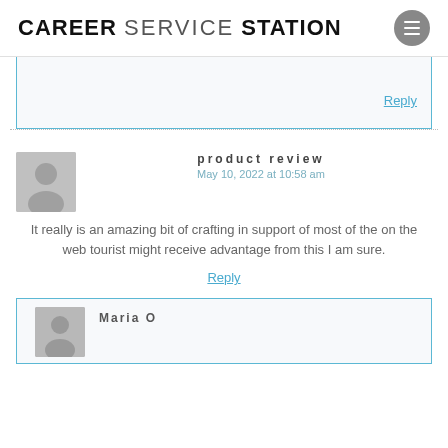CAREER SERVICE STATION
Reply
product review
May 10, 2022 at 10:58 am

It really is an amazing bit of crafting in support of most of the on the web tourist might receive advantage from this I am sure.
Reply
Maria O